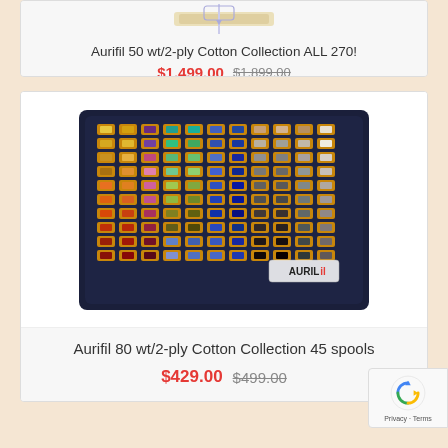[Figure (photo): Partial view of product card top area with thread spools image (cropped at top)]
Aurifil 50 wt/2-ply Cotton Collection ALL 270!
$1,499.00 $1,899.00
[Figure (photo): Box of Aurifil thread spools arranged in rows in a dark navy tray, showing multiple colorful thread spools with orange ends, various colors including yellows, purples, greens, pinks, reds, blues, grays. Aurifil logo visible in bottom right.]
Aurifil 80 wt/2-ply Cotton Collection 45 spools
$429.00 $499.00